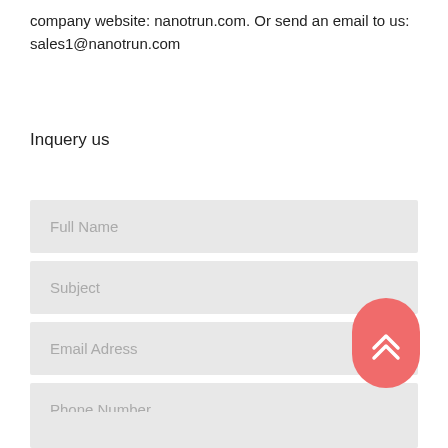company website: nanotrun.com. Or send an email to us: sales1@nanotrun.com
Inquery us
Full Name
Subject
Email Adress
Phone Number
[Figure (other): Scroll-to-top button, rounded rectangle, salmon/red color with double chevron up arrow]